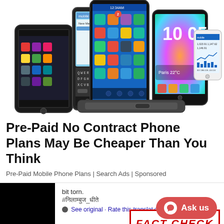[Figure (photo): Group of multiple smartphones displayed together, showing various models with colorful app icons and screens visible]
Pre-Paid No Contract Phone Plans May Be Cheaper Than You Think
Pre-Paid Mobile Phone Plans | Search Ads | Sponsored
[Figure (screenshot): Bottom section showing a dark social media post with 'bit torn.' username and '#निलाम्बुज_धीते' handle with 'See original · Rate this translation' link, a black photo on the left, a 'FACT CHECK' stamp overlay in red, and an 'Ask us' chat button on the right]